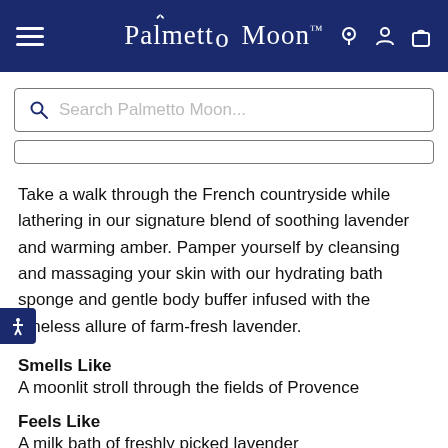Palmetto Moon
[Figure (screenshot): Search bar with placeholder text 'Search Palmetto Moon...']
Take a walk through the French countryside while lathering in our signature blend of soothing lavender and warming amber. Pamper yourself by cleansing and massaging your skin with our hydrating bath sponge and gentle body buffer infused with the timeless allure of farm-fresh lavender.
Smells Like
A moonlit stroll through the fields of Provence
Feels Like
A milk bath of freshly picked lavender
Fragrance Notes